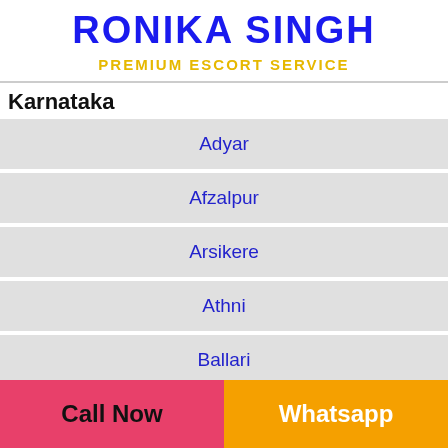RONIKA SINGH
PREMIUM ESCORT SERVICE
Karnataka
Adyar
Afzalpur
Arsikere
Athni
Ballari
Belagavi
Call Now   Whatsapp